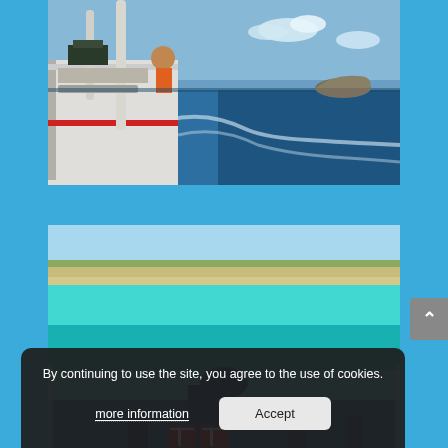[Figure (photo): View from the deck of a white boat at sea, showing the boat's railing and mast, blue ocean water with white wake, and a rocky island in the background under a blue sky with clouds.]
[Figure (photo): View from a boat of a shallow turquoise lagoon with a sandy white shoreline and low rocky/grassy terrain beyond. Passengers' feet and legs visible in foreground, one person wearing Union Jack patterned footwear.]
By continuing to use the site, you agree to the use of cookies.
more information
Accept